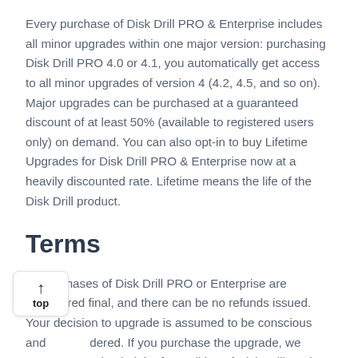Every purchase of Disk Drill PRO & Enterprise includes all minor upgrades within one major version: purchasing Disk Drill PRO 4.0 or 4.1, you automatically get access to all minor upgrades of version 4 (4.2, 4.5, and so on). Major upgrades can be purchased at a guaranteed discount of at least 50% (available to registered users only) on demand. You can also opt-in to buy Lifetime Upgrades for Disk Drill PRO & Enterprise now at a heavily discounted rate. Lifetime means the life of the Disk Drill product.
Terms
All purchases of Disk Drill PRO or Enterprise are considered final, and there can be no refunds issued. Your decision to upgrade is assumed to be conscious and considered. If you purchase the upgrade, we assume you already tried the free edition of Disk Drill Basic and were completely satisfied with the results you got. Remember